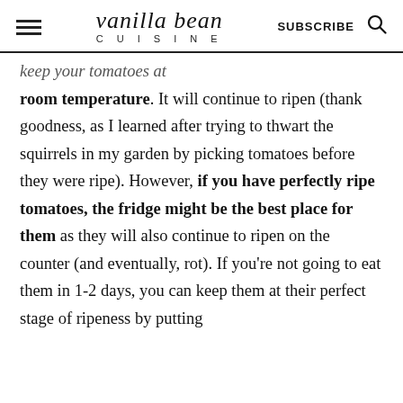vanilla bean CUISINE | SUBSCRIBE
room temperature. It will continue to ripen (thank goodness, as I learned after trying to thwart the squirrels in my garden by picking tomatoes before they were ripe). However, if you have perfectly ripe tomatoes, the fridge might be the best place for them as they will also continue to ripen on the counter (and eventually, rot). If you're not going to eat them in 1-2 days, you can keep them at their perfect stage of ripeness by putting